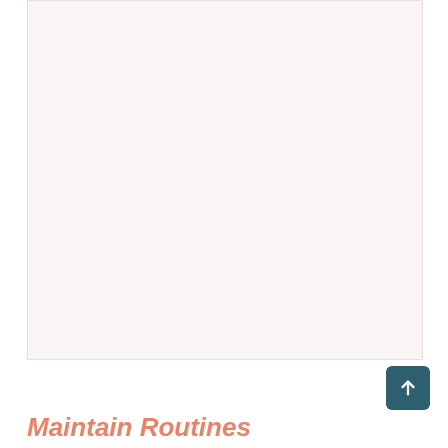[Figure (other): Large light pinkish-white rectangular area, mostly blank/empty, serving as a content placeholder or image region.]
Maintain Routines